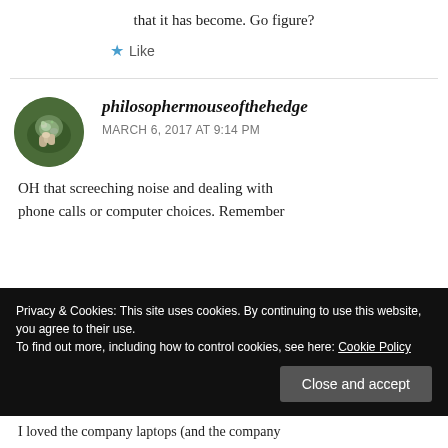that it has become. Go figure?
★ Like
philosophermouseofthehedge
MARCH 6, 2017 AT 9:14 PM
OH that screeching noise and dealing with phone calls or computer choices. Remember
Privacy & Cookies: This site uses cookies. By continuing to use this website, you agree to their use.
To find out more, including how to control cookies, see here: Cookie Policy
Close and accept
I loved the company laptops (and the company